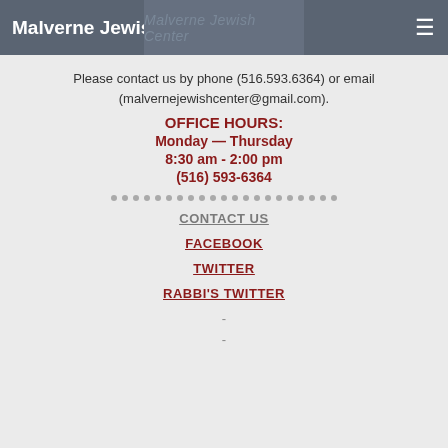Malverne Jewish Center
Please contact us by phone (516.593.6364) or email (malvernejewishcenter@gmail.com).
OFFICE HOURS:
Monday — Thursday
8:30 am - 2:00 pm
(516) 593-6364
CONTACT US
FACEBOOK
TWITTER
RABBI'S TWITTER
-
-